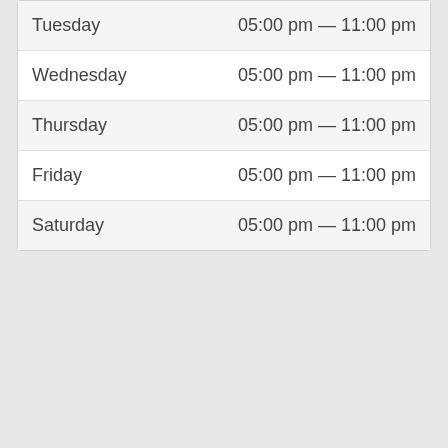| Day | Hours |
| --- | --- |
| Tuesday | 05:00 pm — 11:00 pm |
| Wednesday | 05:00 pm — 11:00 pm |
| Thursday | 05:00 pm — 11:00 pm |
| Friday | 05:00 pm — 11:00 pm |
| Saturday | 05:00 pm — 11:00 pm |